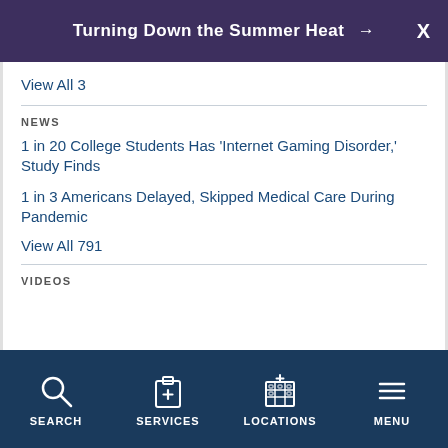Turning Down the Summer Heat →  X
View All 3
NEWS
1 in 20 College Students Has 'Internet Gaming Disorder,' Study Finds
1 in 3 Americans Delayed, Skipped Medical Care During Pandemic
View All 791
VIDEOS
SEARCH  SERVICES  LOCATIONS  MENU